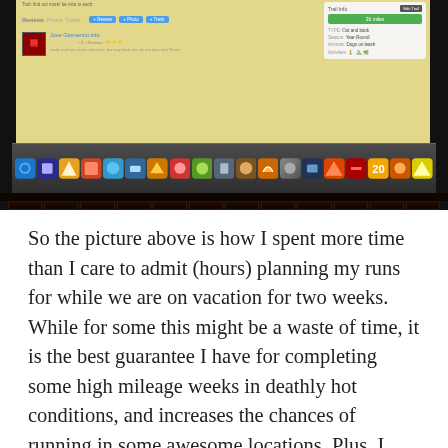[Figure (screenshot): Photo of a MacBook laptop screen showing a trail planning website (AllTrails or similar), with the Mac OS X dock visible below the browser window, and the laptop keyboard illuminated with orange/red backlight in the lower portion of the image.]
So the picture above is how I spent more time than I care to admit (hours) planning my runs for while we are on vacation for two weeks. While for some this might be a waste of time, it is the best guarantee I have for completing some high mileage weeks in deathly hot conditions, and increases the chances of running in some awesome locations. Plus, I LOVE running in new places